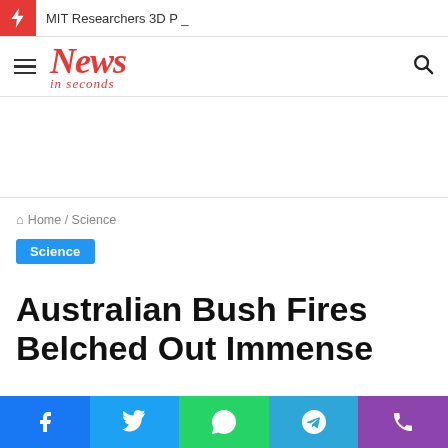MIT Researchers 3D P _
[Figure (logo): News in seconds logo with hamburger menu and search icon]
Home / Science
Science
Australian Bush Fires Belched Out Immense